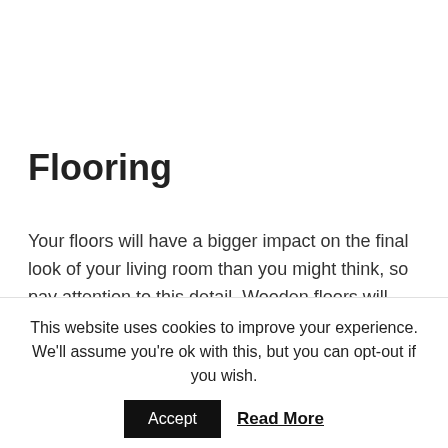Flooring
Your floors will have a bigger impact on the final look of your living room than you might think, so pay attention to this detail. Wooden floors will always look great, and you can make them feel warmer by placing a stylish rug on top, which will also help to
This website uses cookies to improve your experience. We'll assume you're ok with this, but you can opt-out if you wish.
Accept   Read More